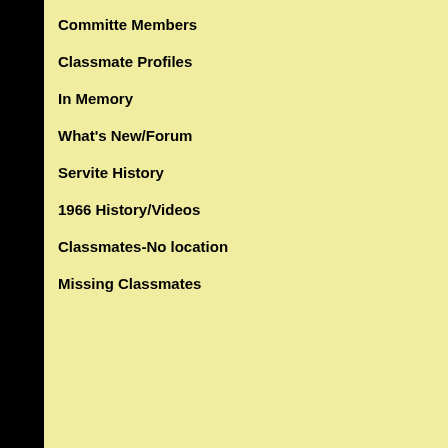Committe Members
Classmate Profiles
In Memory
What's New/Forum
Servite History
1966 History/Videos
Classmates-No location
Missing Classmates
6. Adding pictures
7. Names of Site Pages
1. THE PURPOSE OF THIS
This site was created to connect... reunions). Our next goal is to ma... private!
Everything you need to know ab... have questions, please contact C...
Return to Menu
2. PRIVACY NOTICE
All contact information (address,... confidential. The host of this web...